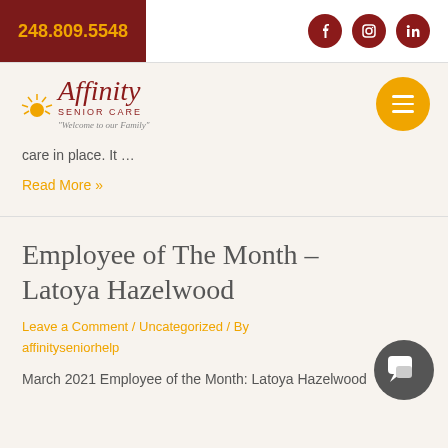248.809.5548
[Figure (logo): Affinity Senior Care logo with sun graphic, tagline 'Welcome to our Family!']
care in place. It …
Read More »
Employee of The Month – Latoya Hazelwood
Leave a Comment / Uncategorized / By affinityseniorhelp
March 2021 Employee of the Month: Latoya Hazelwood